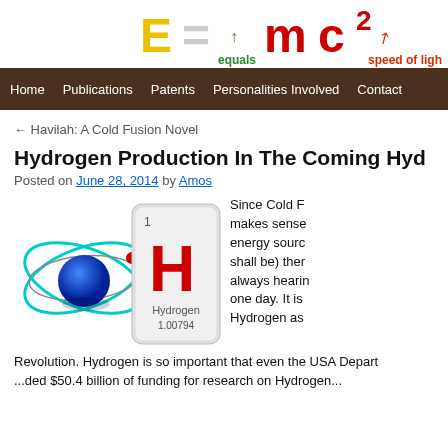[Figure (logo): E=mc2 website logo with colored letters and arrows indicating 'equals' and 'speed of light']
Home   Publications   Patents   Personalities Involved   Contact
← Havilah: A Cold Fusion Novel
Hydrogen Production In The Coming Hyd...
Posted on June 28, 2014 by Amos
[Figure (illustration): Hydrogen atom model diagram alongside a periodic table element tile showing H, Hydrogen, 1.00794]
Since Cold F... makes sense ... energy source... shall be) then... always hearin... one day. It is ... Hydrogen as ... Revolution. Hydrogen is so important that even the USA Depart... ...ded $50.4 billion of funding for research on Hydrogen...